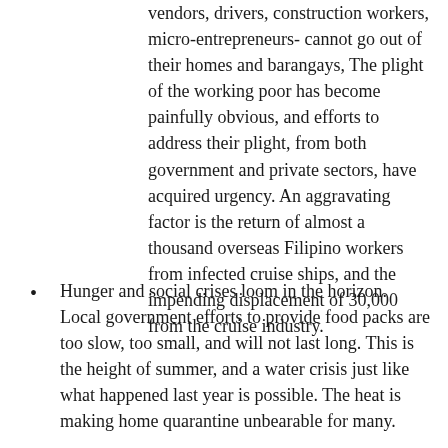vendors, drivers, construction workers, micro-entrepreneurs- cannot go out of their homes and barangays, The plight of the working poor has become painfully obvious, and efforts to address their plight, from both government and private sectors, have acquired urgency. An aggravating factor is the return of almost a thousand overseas Filipino workers from infected cruise ships, and the impending displacement of 30,000 from the cruise industry.
Hunger and social crises loom in the horizon. Local government efforts to provide food packs are too slow, too small, and will not last long. This is the height of summer, and a water crisis just like what happened last year is possible. The heat is making home quarantine unbearable for many.